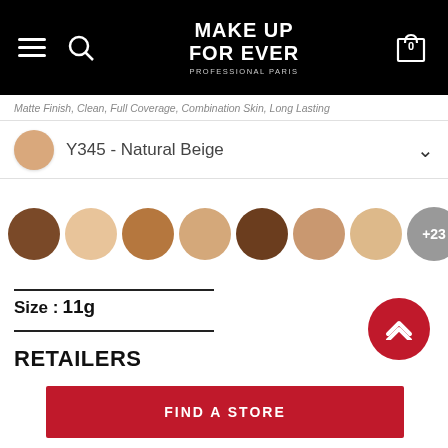MAKE UP FOR EVER PROFESSIONAL PARIS
Matte Finish, Clean, Full Coverage, Combination Skin, Long Lasting
Y345 - Natural Beige
[Figure (other): Color swatches row showing 7 foundation shades (browns, beiges, tans) plus a +23 more button]
Size : 11g
RETAILERS
FIND A STORE